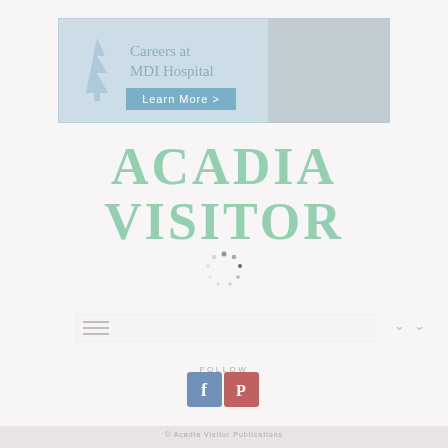[Figure (illustration): Banner advertisement for MDI Hospital Careers with pine tree logo on blue background and 'Learn More' button]
ACADIA VISITOR
[Figure (other): Loading spinner/dots animation indicator]
[Figure (other): Navigation bar with hamburger menu lines and chevron arrow]
FOLLOW
[Figure (other): Social media follow buttons: Facebook (f) and Pinterest (p)]
© Acadia Visitor Publications